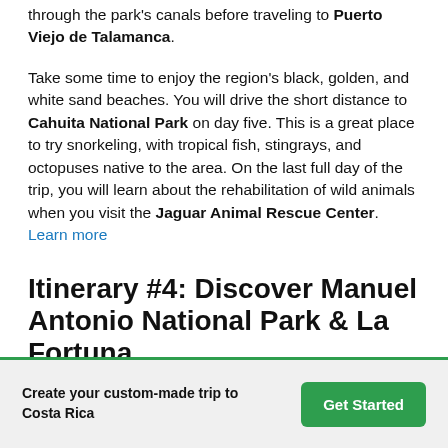through the park's canals before traveling to Puerto Viejo de Talamanca.
Take some time to enjoy the region's black, golden, and white sand beaches. You will drive the short distance to Cahuita National Park on day five. This is a great place to try snorkeling, with tropical fish, stingrays, and octopuses native to the area. On the last full day of the trip, you will learn about the rehabilitation of wild animals when you visit the Jaguar Animal Rescue Center. Learn more
Itinerary #4: Discover Manuel Antonio National Park & La Fortuna
Focus your time on two destinations—beautiful Manuel
Create your custom-made trip to
Costa Rica